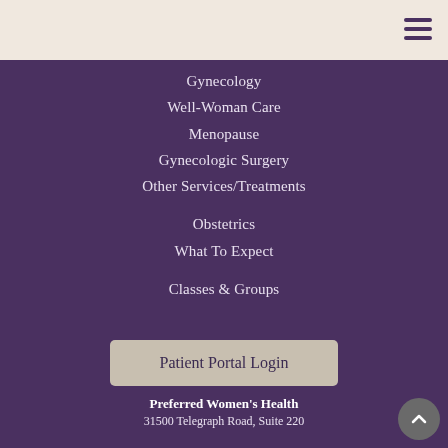Gynecology
Well-Woman Care
Menopause
Gynecologic Surgery
Other Services/Treatments
Obstetrics
What To Expect
Classes & Groups
Patient Portal Login
Book an Appointment
Preferred Women's Health
31500 Telegraph Road, Suite 220